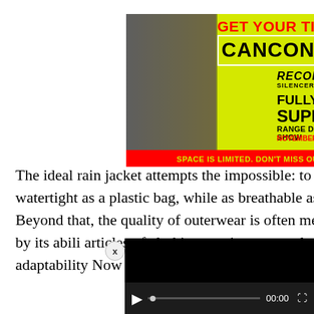[Figure (illustration): CANCON advertisement banner on yellow background. Man aiming suppressed rifle. Text: GET YOUR TICKETS NOW, CANCON, SILENCER SHOP + RECOIL PRESENT A FULLY SUPPRESSED RANGE DAY, RECOIL, SILENCER SHOP, FULLY SUPPRESSED RANGE DAY + GUN SHOW, NOVEMBER 11-13, 2022, SPACE IS LIMITED. DON'T MISS OUT!]
The ideal rain jacket attempts the impossible: to be as watertight as a plastic bag, while as breathable as cotton. Beyond that, the quality of outerwear is often measured by its abili articles of clothing, equipp greater level of adaptability Now available in a women
[Figure (screenshot): Video player overlay: black rectangle with video controls bar at bottom showing play button, progress bar with dot indicator, time display 00:00, and fullscreen button. Close X button at top right.]